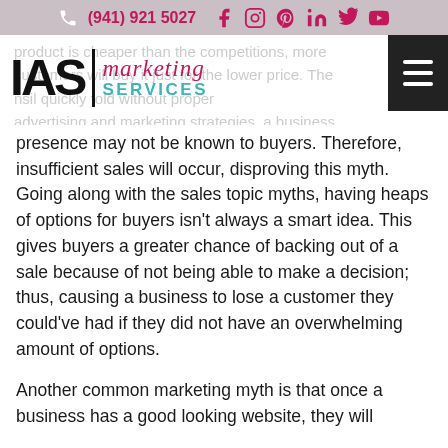(941) 921 5027  [social icons: Facebook, Instagram, Pinterest, LinkedIn, Twitter, YouTube]
[Figure (logo): IAS Marketing Services logo with phone number header and hamburger menu]
product is cheaper than the competitions, more customers will buy it just for the lower price. This will quickly fold without proper advertising and marketing strategies, a business presence may not be known to buyers. Therefore, insufficient sales will occur, disproving this myth. Going along with the sales topic myths, having heaps of options for buyers isn't always a smart idea. This gives buyers a greater chance of backing out of a sale because of not being able to make a decision; thus, causing a business to lose a customer they could've had if they did not have an overwhelming amount of options.
Another common marketing myth is that once a business has a good looking website, they will...